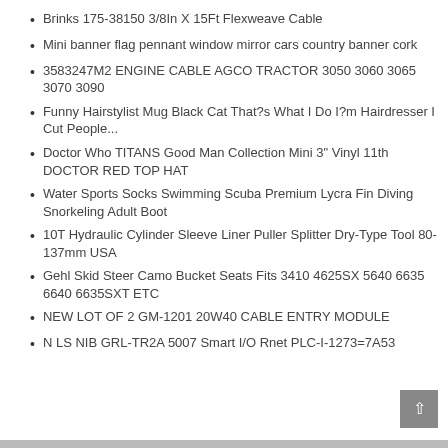Brinks 175-38150 3/8In X 15Ft Flexweave Cable
Mini banner flag pennant window mirror cars country banner cork
3583247M2 ENGINE CABLE AGCO TRACTOR 3050 3060 3065 3070 3090
Funny Hairstylist Mug Black Cat That?s What I Do I?m Hairdresser I Cut People...
Doctor Who TITANS Good Man Collection Mini 3" Vinyl 11th DOCTOR RED TOP HAT
Water Sports Socks Swimming Scuba Premium Lycra Fin Diving Snorkeling Adult Boot
10T Hydraulic Cylinder Sleeve Liner Puller Splitter Dry-Type Tool 80-137mm USA
Gehl Skid Steer Camo Bucket Seats Fits 3410 4625SX 5640 6635 6640 6635SXT ETC
NEW LOT OF 2 GM-1201 20W40 CABLE ENTRY MODULE
N LS NIB GRL-TR2A 5007 Smart I/O Rnet PLC-I-1273=7A53